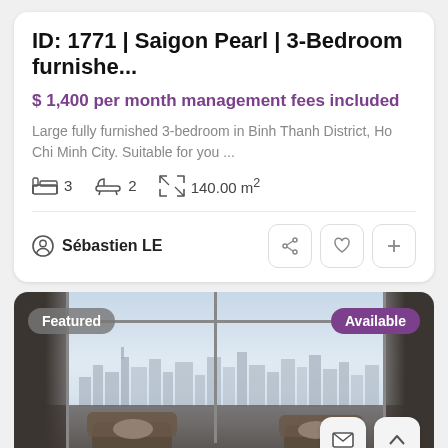ID: 1771 | Saigon Pearl | 3-Bedroom furnishe...
$ 1,400 per month management fees included
Large fully furnished 3-bedroom in Binh Thanh District, Ho Chi Minh City. Suitable for you ...
3  2  140.00 m²
Sébastien LE
[Figure (photo): Interior of a luxury apartment living room with floor-to-ceiling windows showing a city skyline view, ornate armchairs with cushions, and dark curtains. Badges: 'Featured' (grey, left) and 'Available' (purple, right).]